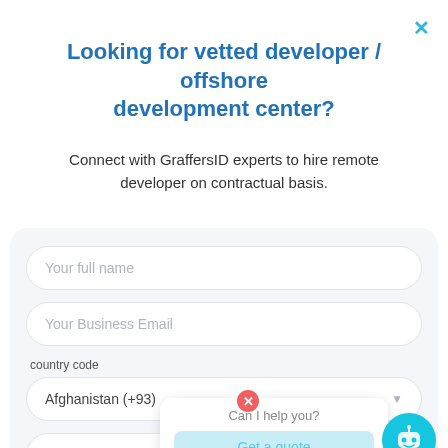Looking for vetted developer / offshore development center?
Connect with GraffersID experts to hire remote developer on contractual basis.
[Figure (screenshot): Web form with fields: Your full name, Your Business Email, country code dropdown (Afghanistan +93), Your Phone Number, message note and Message field. Overlaid chatbot widget with 'Can I help you?' text and a button, robot icon, and a red close circle button.]